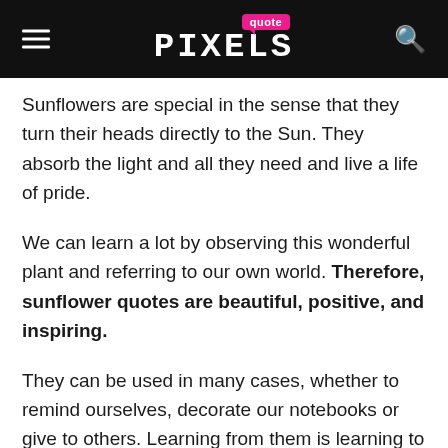quote PIXELS
Sunflowers are special in the sense that they turn their heads directly to the Sun. They absorb the light and all they need and live a life of pride.
We can learn a lot by observing this wonderful plant and referring to our own world. Therefore, sunflower quotes are beautiful, positive, and inspiring.
They can be used in many cases, whether to remind ourselves, decorate our notebooks or give to others. Learning from them is learning to follow a happy, confident, and right way of living.
Looking for some more similar quotes? Check out these Rose quotes and Tulip quotes to bring beauty and vitality to